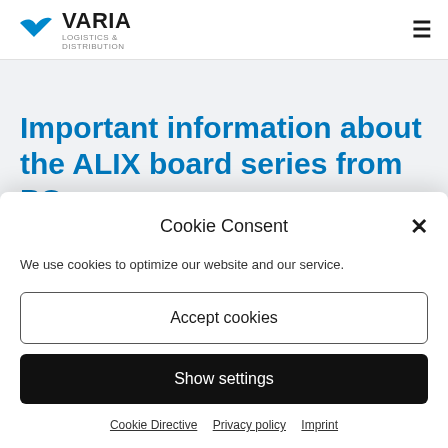VARIA LOGISTICS & DISTRIBUTION
Important information about the ALIX board series from PC Engines
Cookie Consent
We use cookies to optimize our website and our service.
Accept cookies
Show settings
Cookie Directive  Privacy policy  Imprint